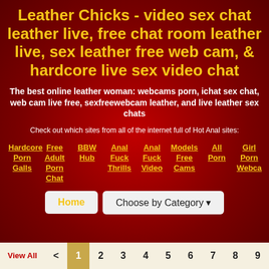Leather Chicks - video sex chat leather live, free chat room leather live, sex leather free web cam, & hardcore live sex video chat
The best online leather woman: webcams porn, ichat sex chat, web cam live free, sexfreewebcam leather, and live leather sex chats
Check out which sites from all of the internet full of Hot Anal sites:
Hardcore Porn Galls
Free Adult Porn Chat
BBW Hub
Anal Fuck Thrills
Anal Fuck Video
Models Free Cams
All Porn
Girl Porn Webca
Home   Choose by Category
View All  <  1  2  3  4  5  6  7  8  9